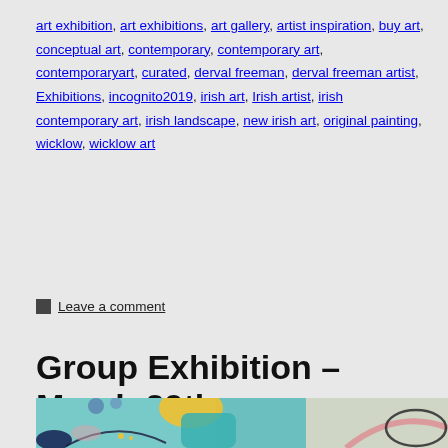art exhibition, art exhibitions, art gallery, artist inspiration, buy art, conceptual art, contemporary, contemporary art, contemporaryart, curated, derval freeman, derval freeman artist, Exhibitions, incognito2019, irish art, Irish artist, irish contemporary art, irish landscape, new irish art, original painting, wicklow, wicklow art
Leave a comment
Group Exhibition – March 29th
[Figure (photo): Abstract painting with teal, yellow, blue, pink and beige colours, showing loose expressive brushwork with organic shapes.]